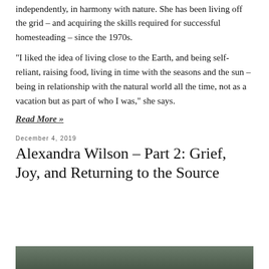independently, in harmony with nature. She has been living off the grid – and acquiring the skills required for successful homesteading – since the 1970s.
“I liked the idea of living close to the Earth, and being self-reliant, raising food, living in time with the seasons and the sun – being in relationship with the natural world all the time, not as a vacation but as part of who I was,” she says.
Read More »
December 4, 2019
Alexandra Wilson – Part 2: Grief, Joy, and Returning to the Source
[Figure (photo): Partial photograph visible at bottom of page, appears to show an outdoor or nature scene in dark tones]